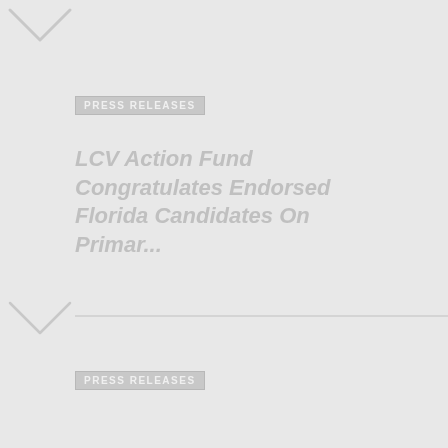[Figure (illustration): Light gray chevron/check-mark arrow icon at top left corner]
PRESS RELEASES
LCV Action Fund Congratulates Endorsed Florida Candidates On Primar...
[Figure (illustration): Light gray chevron/check-mark arrow icon at middle left with horizontal divider line]
PRESS RELEASES